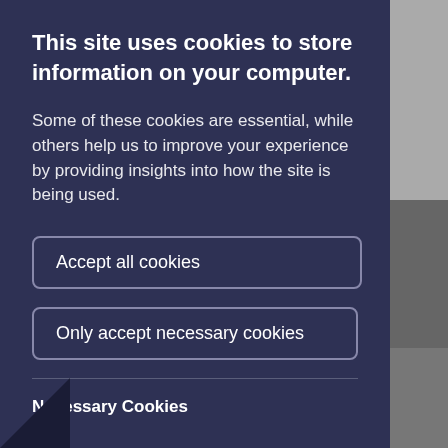This site uses cookies to store information on your computer.
Some of these cookies are essential, while others help us to improve your experience by providing insights into how the site is being used.
Accept all cookies
Only accept necessary cookies
Necessary Cookies
essary cookies enable core functionality such as navigation and access to secure areas.